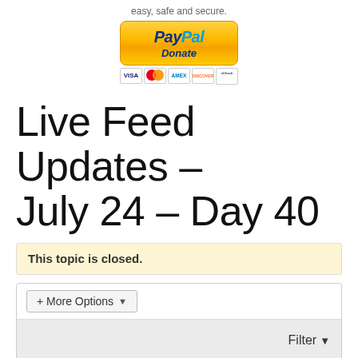easy, safe and secure.
[Figure (illustration): PayPal Donate button with credit card icons (VISA, MasterCard, AMEX, Discover, eCheck)]
Live Feed Updates – July 24 – Day 40
This topic is closed.
+ More Options ▾
Filter ▾